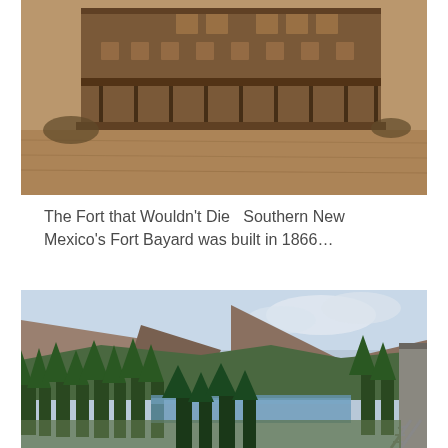[Figure (photo): Sepia-toned historical photograph of Fort Bayard, a large multi-story building with wraparound covered porches, set against open grounds.]
The Fort that Wouldn't Die   Southern New Mexico's Fort Bayard was built in 1866…
[Figure (photo): Color photograph of a mountain landscape with conifer trees in the foreground, a river or lake in the middle distance, rocky hillsides, and a building edge on the right with railroad tracks visible.]